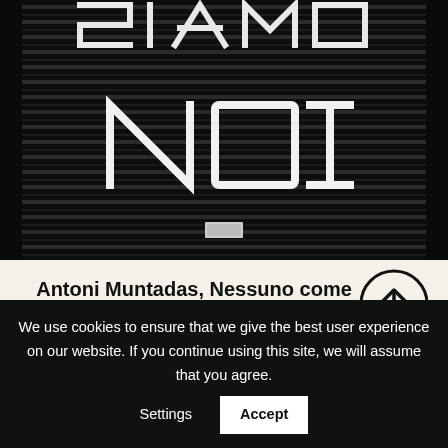[Figure (photo): Black and white photograph of a metal shutter/garage door with white graffiti letters reading 'NOI' (with partial text above, likely 'SIAMO'). The image is dark/grainy with horizontal corrugated metal texture.]
Antoni Muntadas, Nessuno come noi, 2014
1.500 €
We use cookies to ensure that we give the best user experience on our website. If you continue using this site, we will assume that you agree.   Settings   Accept